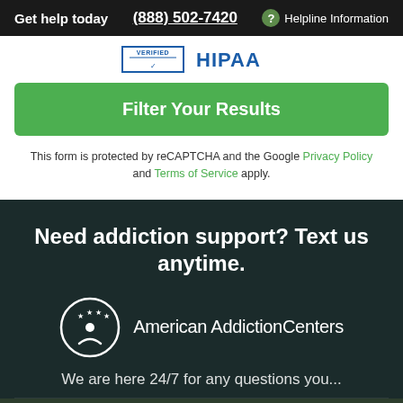Get help today  (888) 502-7420  ? Helpline Information
[Figure (logo): HIPAA VERIFIED badge/logo at top of white section]
Filter Your Results
This form is protected by reCAPTCHA and the Google Privacy Policy and Terms of Service apply.
Need addiction support? Text us anytime.
[Figure (logo): American Addiction Centers logo — circle with stars and figure icon, beside text 'American AddictionCenters']
We are here 24/7 for any questions you...
Check your insurance coverage